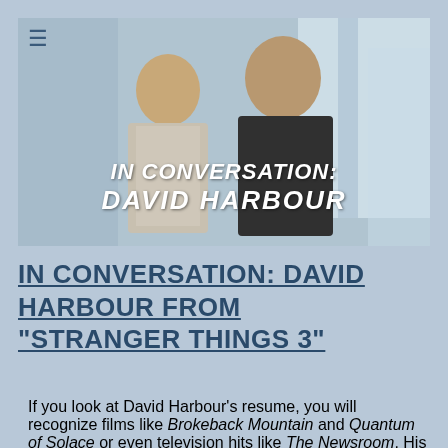[Figure (photo): Two men posing together for a photo indoors, with text overlay reading 'IN CONVERSATION: DAVID HARBOUR']
IN CONVERSATION: DAVID HARBOUR FROM "STRANGER THINGS 3"
If you look at David Harbour's resume, you will recognize films like Brokeback Mountain and Quantum of Solace or even television hits like The Newsroom. His